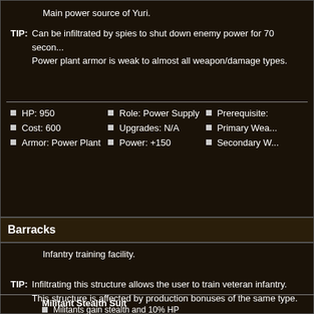Main power source of Yuri.
TIP: Can be infiltrated by spies to shut down enemy power for 70 seconds. Power plant armor is weak to almost all weapon/damage types.
HP: 950
Cost: 600
Armor: Power Plant
Role: Power Supply
Upgrades: N/A
Power: +150
Prerequisite:
Primary Wea:
Secondary W:
Barracks
Infantry training facility.
TIP: Infiltrating this structure allows the user to train veteran infantry. This structure is affected by production bonuses of the same type.
Militant Stealth Suit
Militants gain stealth and 10% HP